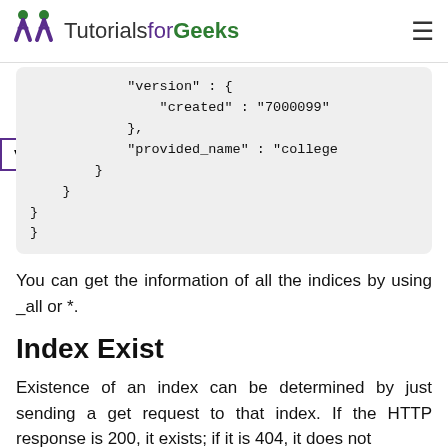TutorialsforGeeks
"version" : {
    "created" : "7000099"
},
"provided_name" : "college"
        }
    }
}
}
You can get the information of all the indices by using _all or *.
Index Exist
Existence of an index can be determined by just sending a get request to that index. If the HTTP response is 200, it exists; if it is 404, it does not exist.